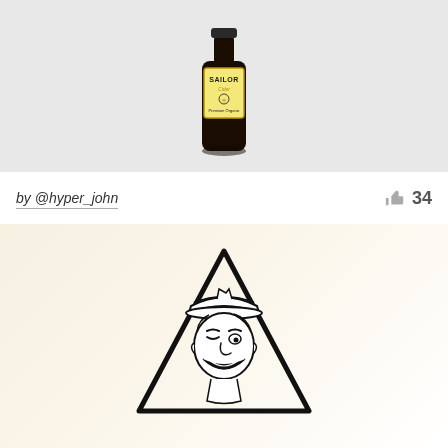[Figure (photo): A dark glass bottle of Sailor Cider — Premium Organic — on a light grey background, with a label featuring a sailor illustration in black and gold.]
by @hyper_john
34
[Figure (illustration): Black and white line illustration of a smiling sailor man wearing a sailor cap, set inside a downward-pointing triangle / chevron shape, on a warm cream/beige gradient background.]